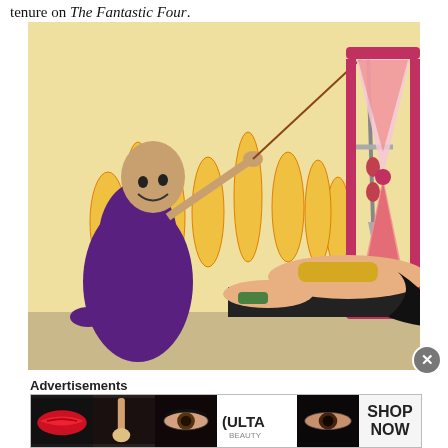tenure on The Fantastic Four.
[Figure (illustration): Vintage comic book illustration showing a bald villain in purple robes holding a sword on a string like a pendulum over a woman lying on a table, with flames in the background and a large hourglass on the right side.]
Advertisements
[Figure (photo): Ulta Beauty advertisement banner showing close-up images of makeup looks including red lips, eye makeup, and the Ulta Beauty logo with a 'Shop Now' call to action.]